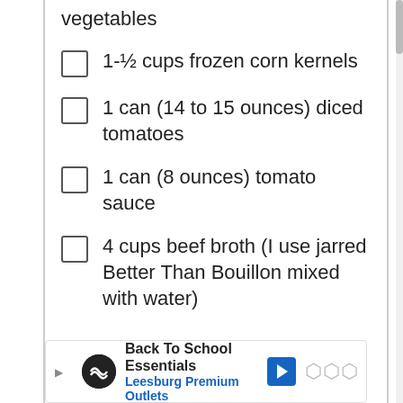vegetables
1-½ cups frozen corn kernels
1 can (14 to 15 ounces) diced tomatoes
1 can (8 ounces) tomato sauce
4 cups beef broth (I use jarred Better Than Bouillon mixed with water)
15.1K
WHAT'S NEXT → Favorite Healthy Cro...
[Figure (screenshot): Advertisement bar: Back To School Essentials, Leesburg Premium Outlets]